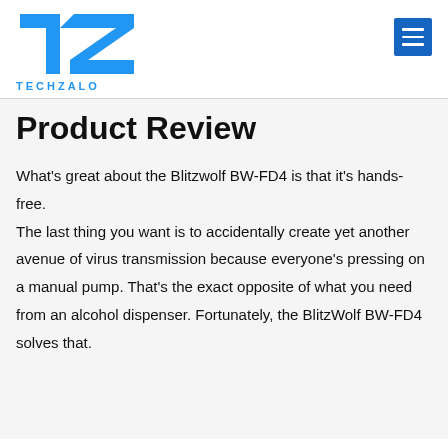TECHZALO
Product Review
What's great about the Blitzwolf BW-FD4 is that it's hands-free. The last thing you want is to accidentally create yet another avenue of virus transmission because everyone's pressing on a manual pump. That's the exact opposite of what you need from an alcohol dispenser. Fortunately, the BlitzWolf BW-FD4 solves that.